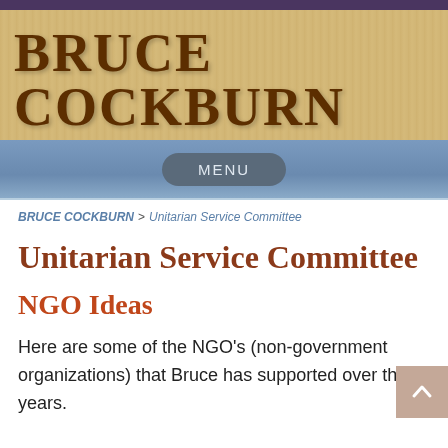BRUCE COCKBURN
MENU
BRUCE COCKBURN > Unitarian Service Committee
Unitarian Service Committee
NGO Ideas
Here are some of the NGO's (non-government organizations) that Bruce has supported over the years.